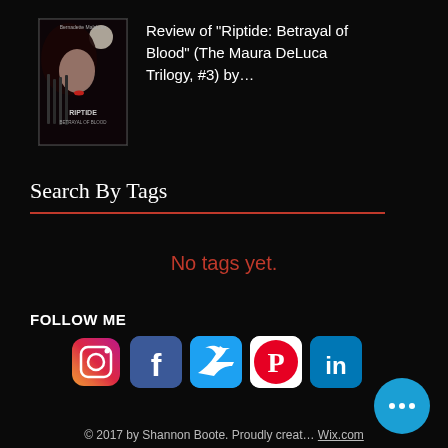[Figure (illustration): Book cover for Riptide: Betrayal of Blood (The Maura DeLuca Trilogy #3) showing a dark-haired woman's profile against a dark background with text overlay]
Review of "Riptide: Betrayal of Blood" (The Maura DeLuca Trilogy, #3) by…
Search By Tags
No tags yet.
FOLLOW ME
[Figure (logo): Social media icons: Instagram, Facebook, Twitter, Pinterest, LinkedIn]
© 2017 by Shannon Boote. Proudly creat… Wix.com